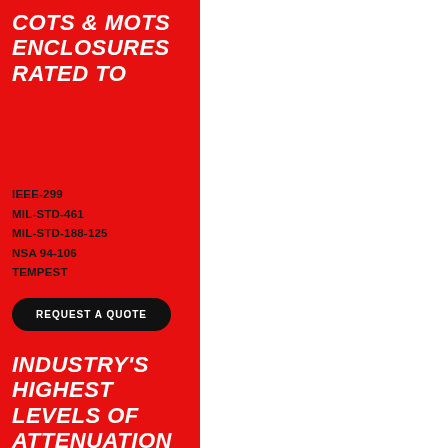COTS & MOTS ENCLOSURES RATED TO
IEEE-299
MIL-STD-461
MIL-STD-188-125
NSA 94-106
TEMPEST
REQUEST A QUOTE
INDUSTRY'S HIGHEST LEVELS OF ATTENUATION